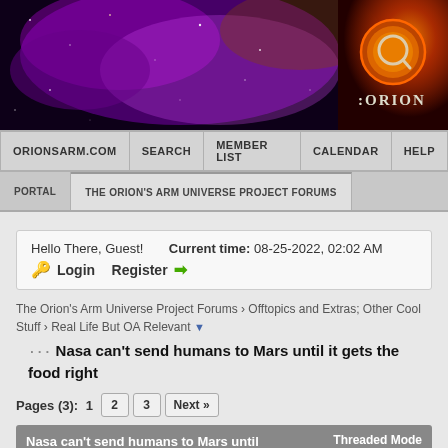[Figure (illustration): Purple galaxy/nebula banner image for Orion's Arm website with orange Orion logo in top right corner]
ORIONSARM.COM | SEARCH | MEMBER LIST | CALENDAR | HELP
PORTAL | THE ORION'S ARM UNIVERSE PROJECT FORUMS
Hello There, Guest!   Current time: 08-25-2022, 02:02 AM
🔑 Login   Register ➡
The Orion's Arm Universe Project Forums › Offtopics and Extras; Other Cool Stuff › Real Life But OA Relevant ▼
Nasa can't send humans to Mars until it gets the food right
Pages (3):  1  2  3  Next »
Nasa can't send humans to Mars until it gets the food right   Threaded Mode